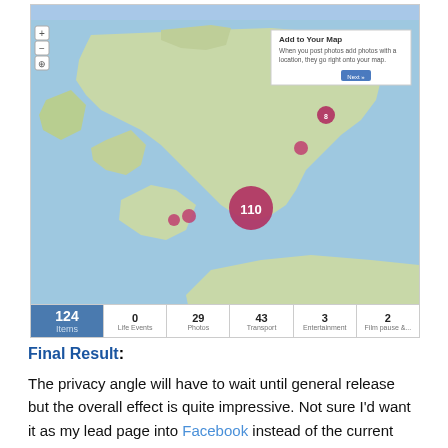[Figure (map): Screenshot of a Flickr map showing England and northern France with clustered photo markers. A large cluster labeled '110' appears over the English Channel/south England area. Smaller markers appear near Cambridge, the northeast coast, and near Southampton/Bournemouth. A tooltip box reads 'Add to Your Map: When you post photos add photos with a location, they go right onto your map.']
| 124 Items | 0 Life Events | 29 Photos | 43 Transport | 3 Entertainment | 2 Film pause &... |
| --- | --- | --- | --- | --- | --- |
Final Result:
The privacy angle will have to wait until general release but the overall effect is quite impressive. Not sure I'd want it as my lead page into Facebook instead of the current Home screen but it is pretty cool. The only issues I can see are that you will have to think hard about the visibility of it on... You can...